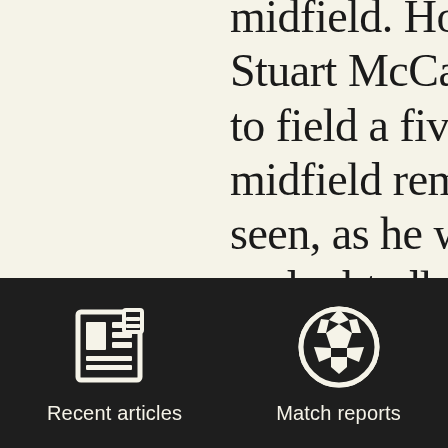midfield. How tempted Stuart McCall will be to field a five-man midfield remains to be seen, as he will undoubtedly shuffle the pack. Michael Boulding may be one of the unlucky few that depart from the starting line-up with Paul Mullin impressing as part of a
[Figure (infographic): Dark navigation footer bar with two icon buttons: 'Recent articles' (newspaper icon) and 'Match reports' (soccer ball icon)]